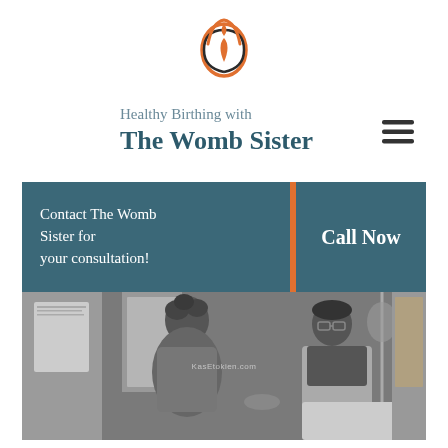[Figure (logo): Orange and dark outlined lotus/womb flower logo icon]
Healthy Birthing with The Womb Sister
[Figure (other): Hamburger menu icon (three horizontal lines)]
Contact The Womb Sister for your consultation!
Call Now
[Figure (photo): Black and white photograph of a pregnant woman with curly hair sitting and speaking with a healthcare provider wearing glasses in a clinical room. Watermark reads KasEtokien.com]